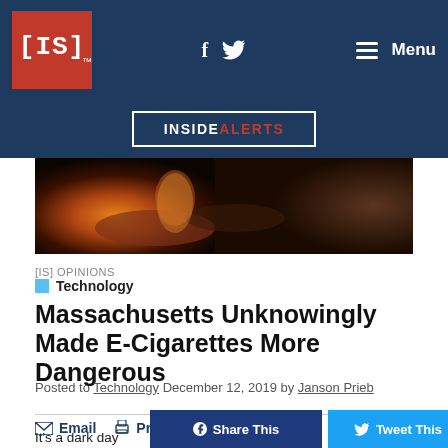[IS]™  f  🐦  ☰ Menu
INSIDE ALERTS
[Figure (photo): Dark, warm-toned photo of hands near a flame or light source, close-up view.]
[IS] OPINIONS
Technology
Massachusetts Unknowingly Made E-Cigarettes More Dangerous
Posted to Technology December 12, 2019 by Janson Prieb
Email  Print
It's a dark day
Share This  Tweet This